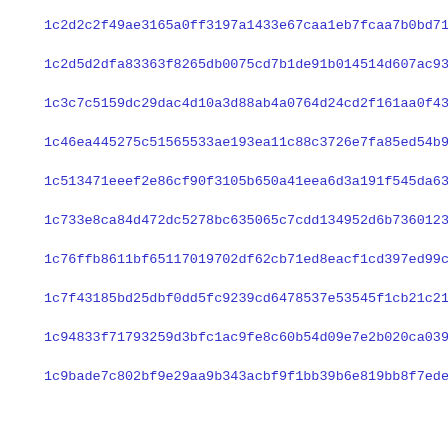1c2d2c2f49ae3165a0ff3197a1433e67caa1eb7fcaa7b0bd711b8a906b731
1c2d5d2dfa83363f8265db0075cd7b1de91b014514d607ac93d7b5c5bc051
1c3c7c5159dc29dac4d10a3d88ab4a0764d24cd2f161aa0f439eec578123c
1c46ea445275c51565533ae193ea11c88c3726e7fa85ed54b9d146598b37d
1c513471eeef2e86cf90f3105b650a41eea6d3a191f545da6369e4cfe115f
1c733e8ca84d472dc5278bc635065c7cdd134952d6b736012348c05f0024d
1c76ffb8611bf65117019702df62cb71ed8eacf1cd397ed99caf3d9a3ccaf
1c7f43185bd25dbf0dd5fc9239cd6478537e53545f1cb21c21fadf2ea0a35
1c94833f71793259d3bfc1ac9fe8c60b54d09e7e2b020ca03971efca79018
1c9bade7c802bf9e29aa9b343acbf9f1bb39b6e819bb8f7ede8353b191b9c